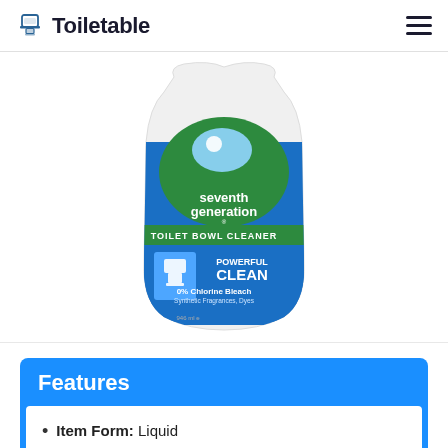Toiletable
[Figure (photo): Seventh Generation Toilet Bowl Cleaner bottle with blue and green label showing 'Powerful Clean' and '0% Chlorine Bleach, Synthetic Fragrances, Dyes'. 946 ml bottle.]
Features
Item Form: Liquid
Special Ingredients: NUT FREE, Gluten